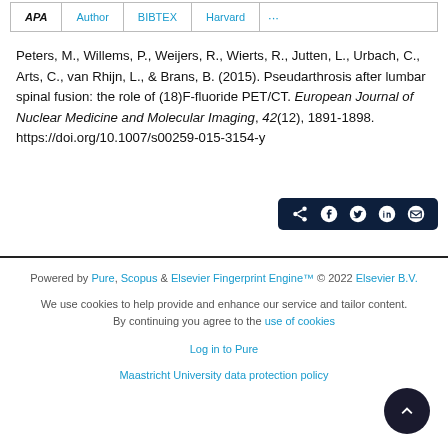Peters, M., Willems, P., Weijers, R., Wierts, R., Jutten, L., Urbach, C., Arts, C., van Rhijn, L., & Brans, B. (2015). Pseudarthrosis after lumbar spinal fusion: the role of (18)F-fluoride PET/CT. European Journal of Nuclear Medicine and Molecular Imaging, 42(12), 1891-1898. https://doi.org/10.1007/s00259-015-3154-y
[Figure (other): Social share buttons bar with share, Facebook, Twitter, LinkedIn, and email icons on dark navy background]
Powered by Pure, Scopus & Elsevier Fingerprint Engine™ © 2022 Elsevier B.V.
We use cookies to help provide and enhance our service and tailor content. By continuing you agree to the use of cookies
Log in to Pure
Maastricht University data protection policy